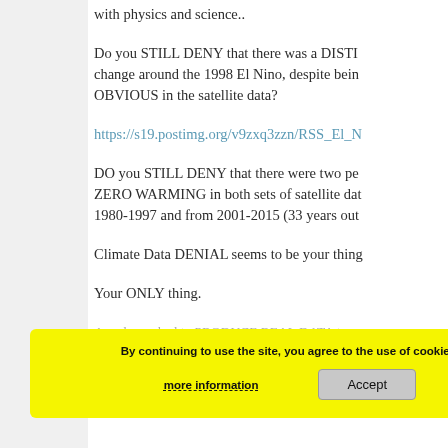with physics and science..
Do you STILL DENY that there was a DISTINCT change around the 1998 El Nino, despite being OBVIOUS in the satellite data?
https://s19.postimg.org/v9zxq3zzn/RSS_El_N
DO you STILL DENY that there were two pe ZERO WARMING in both sets of satellite da 1980-1997 and from 2001-2015 (33 years out
Climate Data DENIAL seems to be your thing
Your ONLY thing.
An when asked to PRODUCE REAL DATA t your anti-science lunacy claims of CO2 warm
By continuing to use the site, you agree to the use of cookies. more information Accept